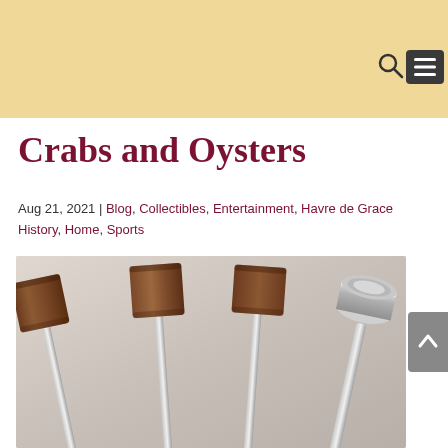Crabs and Oysters
Aug 21, 2021 | Blog, Collectibles, Entertainment, Havre de Grace History, Home, Sports
[Figure (photo): Several crab mallets including wooden-headed mallets with metal handles and a metal-headed mallet with a cylindrical handle, arranged on a light background.]